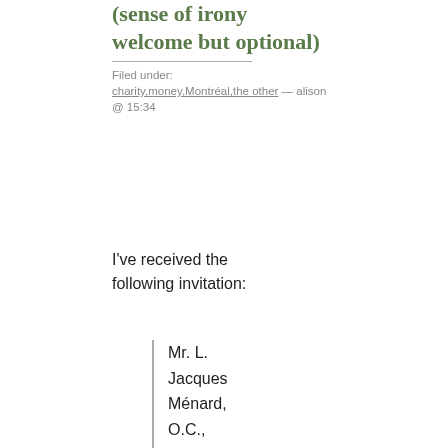(sense of irony welcome but optional)
Filed under: charity,money,Montréal,the other — alison @ 15:34
I've received the following invitation:
Mr. L.
Jacques
Ménard,
O.C.,
Leaders'
Circle
President

is

pleased

to invite